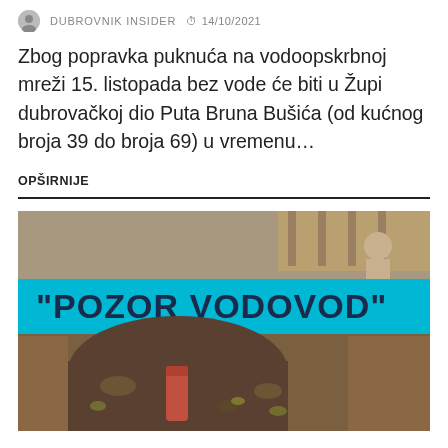DUBROVNIK INSIDER  14/10/2021
Zbog popravka puknuća na vodoopskrbnoj mreži 15. listopada bez vode će biti u Župi dubrovačkoj dio Puta Bruna Bušića (od kućnog broja 39 do broja 69) u vremenu…
OPŠIRNIJE
[Figure (photo): Photo showing a blue warning tape reading '"POZOR VODOVOD"' over an excavated hole in the ground with exposed pipes and dirt]